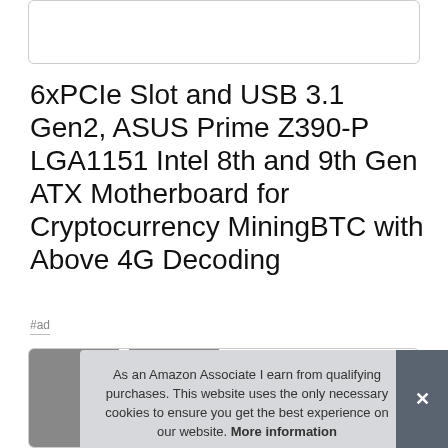[Figure (other): Top placeholder box, partially visible at top of page]
6xPCIe Slot and USB 3.1 Gen2, ASUS Prime Z390-P LGA1151 Intel 8th and 9th Gen ATX Motherboard for Cryptocurrency MiningBTC with Above 4G Decoding
#ad
[Figure (photo): Product image of motherboard, partially visible at bottom left]
As an Amazon Associate I earn from qualifying purchases. This website uses the only necessary cookies to ensure you get the best experience on our website. More information